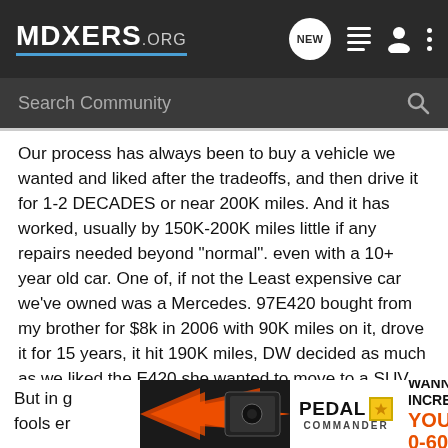MDXERS.ORG — navigation bar with logo, search bubble (NEW), list icon, person icon, dots menu
Search Community
Our process has always been to buy a vehicle we wanted and liked after the tradeoffs, and then drive it for 1-2 DECADES or near 200K miles. And it has worked, usually by 150K-200K miles little if any repairs needed beyond "normal". even with a 10+ year old car. One of, if not the Least expensive car we've owned was a Mercedes. 97E420 bought from my brother for $8k in 2006 with 90K miles on it, drove it for 15 years, it hit 190K miles, DW decided as much as we liked the E420 she wanted to move to a SUV, sold the E420 for $4500. Very troublefree car, great performance, 18mph city, high 20's on the highway. But for us now the MDX hybrid is a better fit with the traveling we do.
But in g... sually a fools er...
[Figure (advertisement): Pedal Commander advertisement with orange/black arrow graphic, Pedal Commander logo with star, 'WANNA INCREASE YOUR 0-60?' text in black and orange]